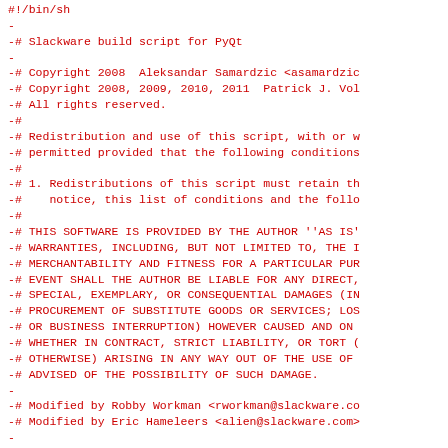#!/bin/sh
-
-# Slackware build script for PyQt
-
-# Copyright 2008  Aleksandar Samardzic <asamardzic...
-# Copyright 2008, 2009, 2010, 2011  Patrick J. Vol...
-# All rights reserved.
-#
-# Redistribution and use of this script, with or w...
-# permitted provided that the following conditions...
-#
-# 1. Redistributions of this script must retain th...
-#    notice, this list of conditions and the follo...
-#
-# THIS SOFTWARE IS PROVIDED BY THE AUTHOR ''AS IS'...
-# WARRANTIES, INCLUDING, BUT NOT LIMITED TO, THE I...
-# MERCHANTABILITY AND FITNESS FOR A PARTICULAR PUR...
-# EVENT SHALL THE AUTHOR BE LIABLE FOR ANY DIRECT,...
-# SPECIAL, EXEMPLARY, OR CONSEQUENTIAL DAMAGES (IN...
-# PROCUREMENT OF SUBSTITUTE GOODS OR SERVICES; LOS...
-# OR BUSINESS INTERRUPTION) HOWEVER CAUSED AND ON ...
-# WHETHER IN CONTRACT, STRICT LIABILITY, OR TORT (...
-# OTHERWISE) ARISING IN ANY WAY OUT OF THE USE OF ...
-# ADVISED OF THE POSSIBILITY OF SUCH DAMAGE.
-
-# Modified by Robby Workman <rworkman@slackware.co...
-# Modified by Eric Hameleers <alien@slackware.com>...
-
-PKGNAM=PyQt
-VERSION=${VERSION:-$(echo $PKGNAM-*.tar.?z* | rev...
-BUILD=${BUILD:-1}